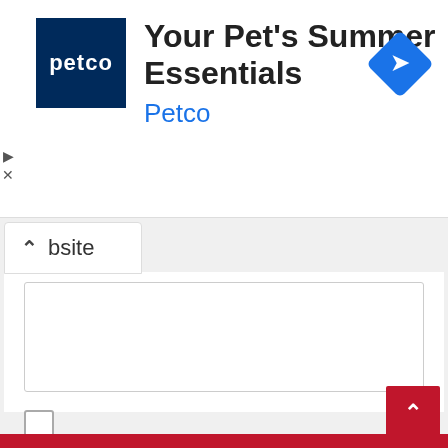[Figure (screenshot): Petco advertisement banner with logo, title 'Your Pet's Summer Essentials', brand name 'Petco' in blue, and a blue navigation diamond icon on the right]
bsite
Save my name, email, and website in this browser for the next time I comment.
Post Comment